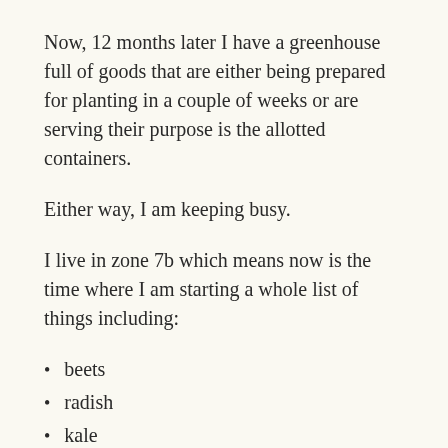Now, 12 months later I have a greenhouse full of goods that are either being prepared for planting in a couple of weeks or are serving their purpose is the allotted containers.
Either way, I am keeping busy.
I live in zone 7b which means now is the time where I am starting a whole list of things including:
beets
radish
kale
lettuce
broccoli
potatoes
English peas